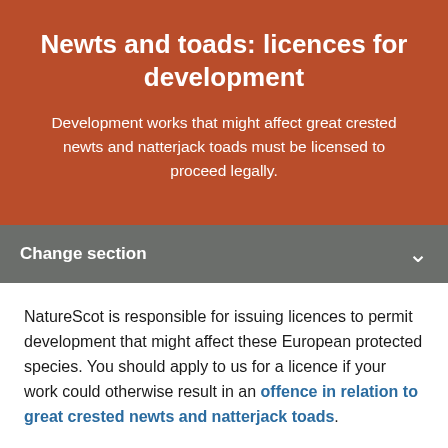Newts and toads: licences for development
Development works that might affect great crested newts and natterjack toads must be licensed to proceed legally.
Change section
NatureScot is responsible for issuing licences to permit development that might affect these European protected species. You should apply to us for a licence if your work could otherwise result in an offence in relation to great crested newts and natterjack toads.
A licence can only be granted if you can meet the three